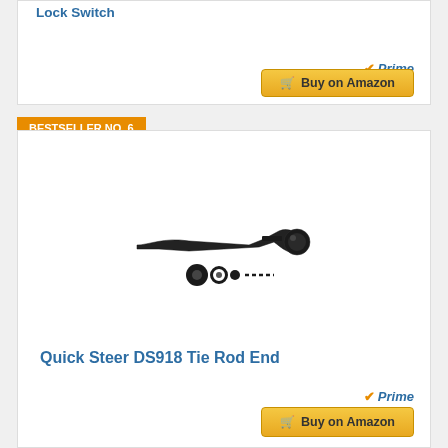Lock Switch
[Figure (other): Amazon Prime badge with orange checkmark and blue italic Prime text]
[Figure (other): Buy on Amazon button with cart icon, golden yellow background]
BESTSELLER NO. 6
[Figure (other): Quick Steer DS918 Tie Rod End product image showing a curved metal tie rod end with small hardware pieces below it]
Quick Steer DS918 Tie Rod End
[Figure (other): Amazon Prime badge with orange checkmark and blue italic Prime text]
[Figure (other): Buy on Amazon button with cart icon, golden yellow background]